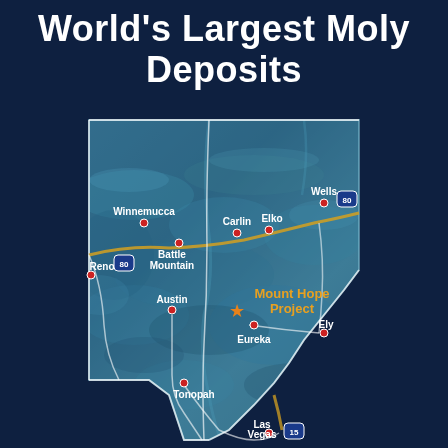World's Largest Moly Deposits
[Figure (map): Map of Nevada state showing the location of the Mount Hope Project (marked with an orange star) near Eureka, NV. Major cities labeled include Winnemucca, Battle Mountain, Carlin, Elko, Wells, Reno, Austin, Eureka, Ely, Tonopah, and Las Vegas. Interstate highways I-80 and I-15 are shown. The map has a topographic terrain appearance with blue-teal coloring.]